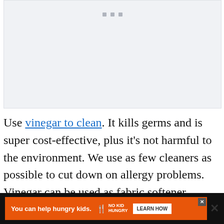[Figure (other): Image placeholder area with light blue-grey background and three small grey square dots at the top center, indicating a loading or placeholder image]
Use vinegar to clean. It kills germs and is super cost-effective, plus it's not harmful to the environment. We use as few cleaners as possible to cut down on allergy problems. Vinegar can be used as fabric softener, window cleaner, deodorizer, disinfectant, and many...
[Figure (other): Advertisement bar at the bottom: orange 'No Kid Hungry' ad with text 'You can help hungry kids.' and a 'LEARN HOW' button on dark background]